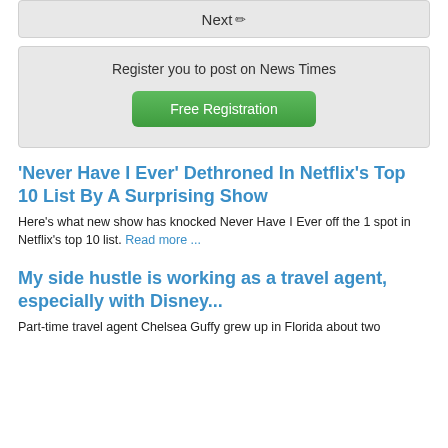Next ✏
Register you to post on News Times
Free Registration
'Never Have I Ever' Dethroned In Netflix's Top 10 List By A Surprising Show
Here's what new show has knocked Never Have I Ever off the 1 spot in Netflix's top 10 list. Read more ...
My side hustle is working as a travel agent, especially with Disney...
Part-time travel agent Chelsea Guffy grew up in Florida about two